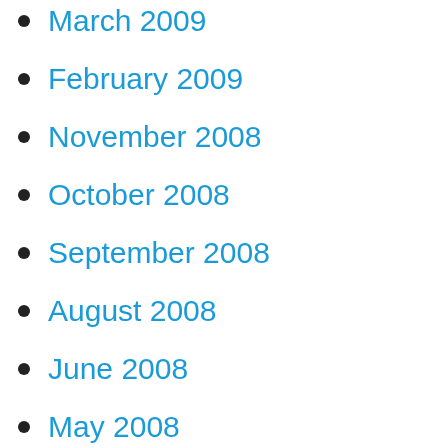March 2009
February 2009
November 2008
October 2008
September 2008
August 2008
June 2008
May 2008
April 2008
March 2008
February 2008
October 2007
September 2007
August 2007
July 2007
June 2007
May 2007